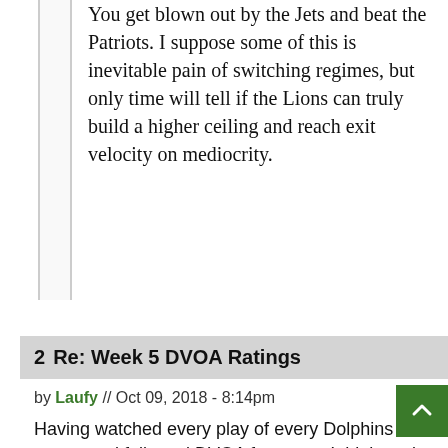You get blown out by the Jets and beat the Patriots. I suppose some of this is inevitable pain of switching regimes, but only time will tell if the Lions can truly build a higher ceiling and reach exit velocity on mediocrity.
2  Re: Week 5 DVOA Ratings
by Laufy // Oct 09, 2018 - 8:14pm
Having watched every play of every Dolphins game, and followed DVOA for years, I think you're right that Miami is overrated here, and